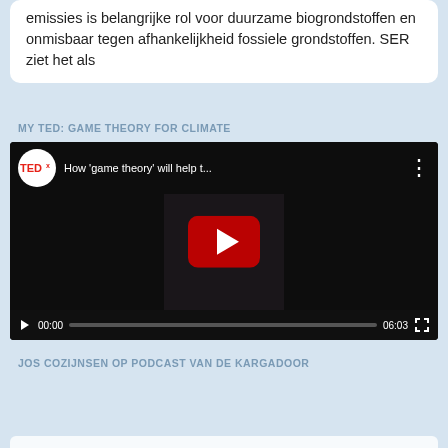emissies is belangrijke rol voor duurzame biogrondstoffen en onmisbaar tegen afhankelijkheid fossiele grondstoffen. SER ziet het als
MY TED: GAME THEORY FOR CLIMATE
[Figure (screenshot): Embedded YouTube TEDx video player showing 'How game theory will help t...' with a person on stage, play button overlay, and video controls showing 00:00 / 06:03]
JOS COZIJNSEN OP PODCAST VAN DE KARGADOOR